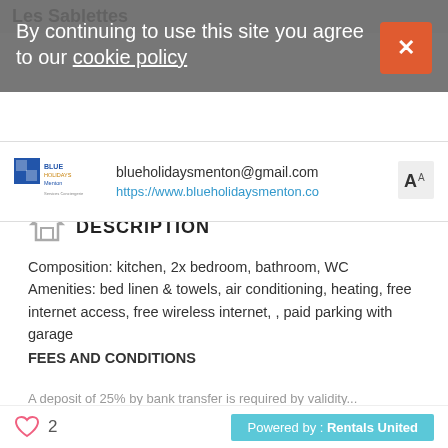By continuing to use this site you agree to our cookie policy
Les Sablettes
[Figure (logo): Blue Holidays Menton logo with agency contact info: blueholidaysmenton@gmail.com, https://www.blueholidaysmenton.co]
DESCRIPTION
Composition: kitchen, 2x bedroom, bathroom, WC
Amenities: bed linen & towels, air conditioning, heating, free internet access, free wireless internet, , paid parking with garage
FEES AND CONDITIONS
A deposit of 25% by bank transfer is required by validity...
2  Powered by : Rentals United